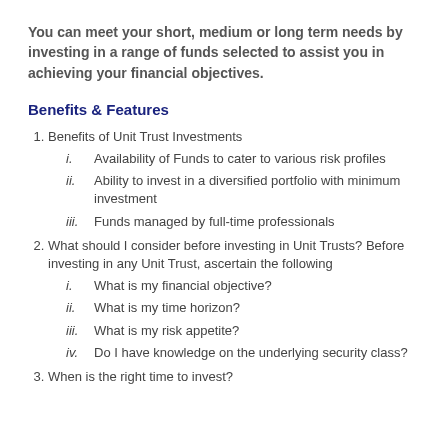You can meet your short, medium or long term needs by investing in a range of funds selected to assist you in achieving your financial objectives.
Benefits & Features
Benefits of Unit Trust Investments
i. Availability of Funds to cater to various risk profiles
ii. Ability to invest in a diversified portfolio with minimum investment
iii. Funds managed by full-time professionals
What should I consider before investing in Unit Trusts? Before investing in any Unit Trust, ascertain the following
i. What is my financial objective?
ii. What is my time horizon?
iii. What is my risk appetite?
iv. Do I have knowledge on the underlying security class?
When is the right time to invest?